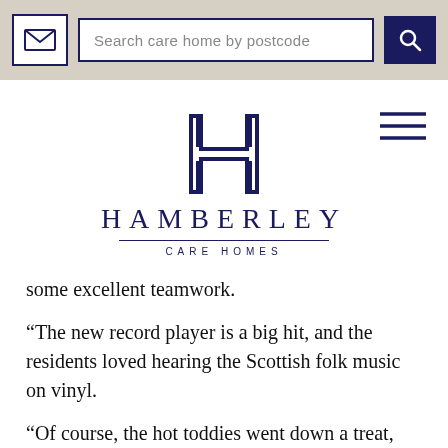Search care home by postcode
[Figure (logo): Hamberley Care Homes logo — stylized H lettermark in dark navy above the text HAMBERLEY CARE HOMES]
some excellent teamwork.
“The new record player is a big hit, and the residents loved hearing the Scottish folk music on vinyl.
“Of course, the hot toddies went down a treat, and the residents said they enjoyed hearing